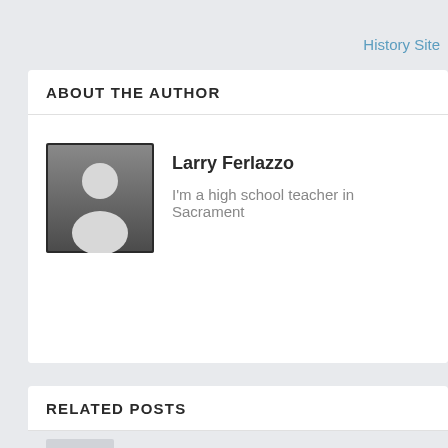History Site
ABOUT THE AUTHOR
[Figure (illustration): Generic user avatar icon: a white silhouette of a person (head and shoulders) on a dark gray gradient square background]
Larry Ferlazzo
I'm a high school teacher in Sacramento
RELATED POSTS
[Figure (photo): Partial thumbnail image placeholder, light gray background]